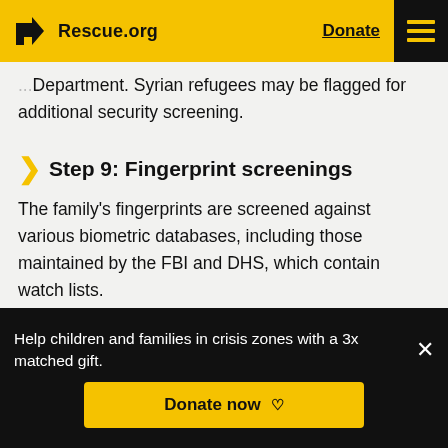Rescue.org  Donate
Department. Syrian refugees may be flagged for additional security screening.
Step 9: Fingerprint screenings
The family's fingerprints are screened against various biometric databases, including those maintained by the FBI and DHS, which contain watch lists.
Step 10: Medical screenings
Help children and families in crisis zones with a 3x matched gift.
Donate now